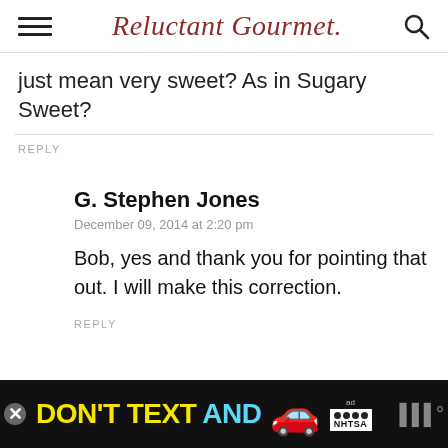Reluctant Gourmet
just mean very sweet? As in Sugary Sweet?
REPLY
G. Stephen Jones
December 09, 2014 at 2:20 pm
Bob, yes and thank you for pointing that out. I will make this correction.
REPLY
[Figure (screenshot): Advertisement banner: DON'T TEXT AND [car emoji] with ad badge and NHTSA logo, dark background]